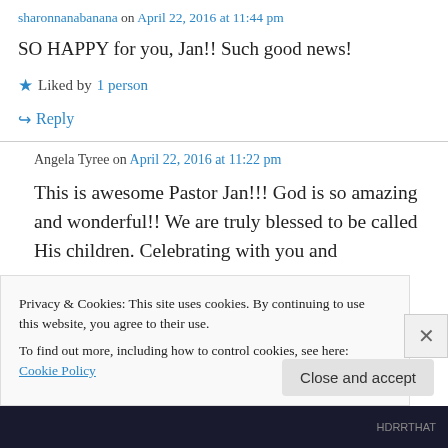sharonnanabanana on April 22, 2016 at 11:44 pm
SO HAPPY for you, Jan!! Such good news!
★ Liked by 1 person
↪ Reply
Angela Tyree on April 22, 2016 at 11:22 pm
This is awesome Pastor Jan!!! God is so amazing and wonderful!! We are truly blessed to be called His children. Celebrating with you and
Privacy & Cookies: This site uses cookies. By continuing to use this website, you agree to their use. To find out more, including how to control cookies, see here: Cookie Policy
Close and accept